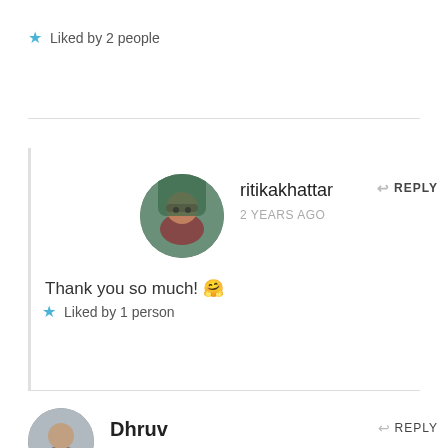★ Liked by 2 people
ritikakhattar
2 YEARS AGO
REPLY
Thank you so much! 🤗
★ Liked by 1 person
Dhruv
REPLY